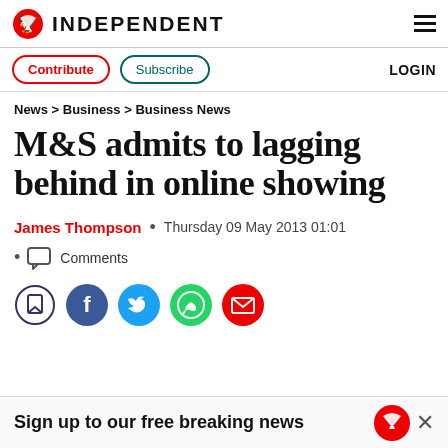INDEPENDENT
Contribute  Subscribe  LOGIN
News > Business > Business News
M&S admits to lagging behind in online showing
James Thompson  •  Thursday 09 May 2013 01:01
Comments
[Figure (other): Social sharing icons: bookmark/save, Facebook, Twitter, WhatsApp, Email]
Sign up to our free breaking news